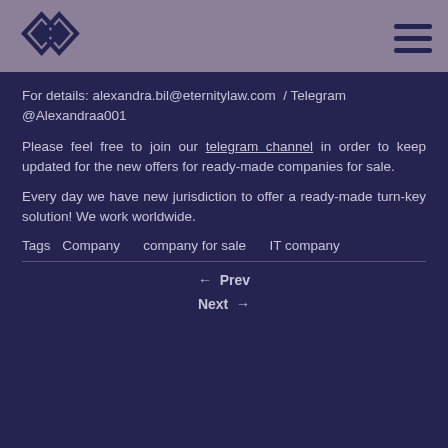[Figure (logo): Eternity Law logo — two overlapping diamond/arrow shapes in dark navy, on a mauve/purple header bar with a hamburger menu icon on the right]
For details: alexandra.bil@eternitylaw.com / Telegram @Alexandraa001
Please feel free to join our telegram channel in order to keep updated for the new offers for ready-made companies for sale.
Every day we have new jurisdiction to offer a ready-made turn-key solution! We work worldwide.
Tags   Company   company for sale   IT company
← Prev
Next →